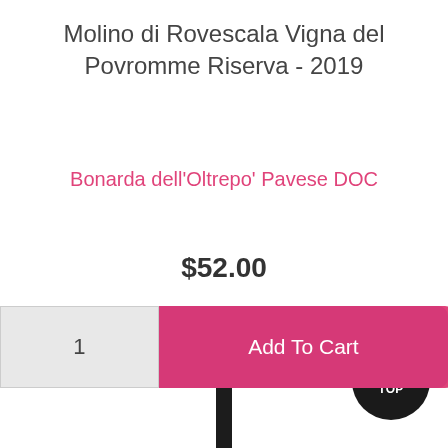Molino di Rovescala Vigna del Povromme Riserva - 2019
Bonarda dell'Oltrepo' Pavese DOC
$52.00
1
Add To Cart
[Figure (photo): Bottom portion of a wine bottle neck shown at the bottom of the page]
^ TOP